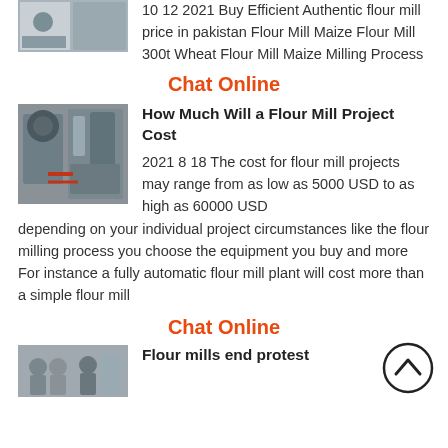10 12 2021 Buy Efficient Authentic flour mill price in pakistan Flour Mill Maize Flour Mill 300t Wheat Flour Mill Maize Milling Process
Chat Online
[Figure (photo): Industrial flour mill machinery with tanks and pipes]
How Much Will a Flour Mill Project Cost
2021 8 18 The cost for flour mill projects may range from as low as 5000 USD to as high as 60000 USD depending on your individual project circumstances like the flour milling process you choose the equipment you buy and more For instance a fully automatic flour mill plant will cost more than a simple flour mill
Chat Online
[Figure (photo): Partial thumbnail of flour mills protest article]
Flour mills end protest